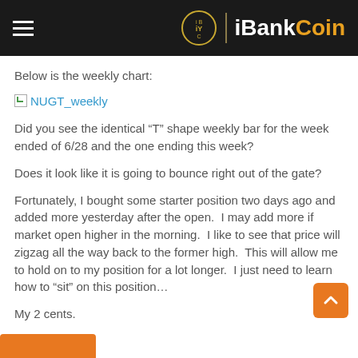iBankCoin
Below is the weekly chart:
[Figure (other): Broken image placeholder link labeled NUGT_weekly]
Did you see the identical “T” shape weekly bar for the week ended of 6/28 and the one ending this week?
Does it look like it is going to bounce right out of the gate?
Fortunately, I bought some starter position two days ago and added more yesterday after the open.  I may add more if market open higher in the morning.  I like to see that price will zigzag all the way back to the former high.  This will allow me to hold on to my position for a lot longer.  I just need to learn how to “sit” on this position…
My 2 cents.